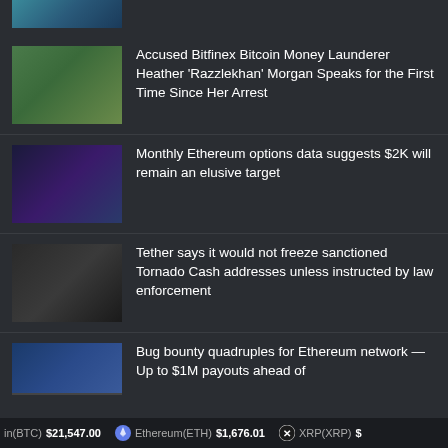[Figure (photo): Partial top image cropped at top of page]
Accused Bitfinex Bitcoin Money Launderer Heather 'Razzlekhan' Morgan Speaks for the First Time Since Her Arrest
Monthly Ethereum options data suggests $2K will remain an elusive target
Tether says it would not freeze sanctioned Tornado Cash addresses unless instructed by law enforcement
Bug bounty quadruples for Ethereum network — Up to $1M payouts ahead of
in(BTC) $21,547.00   Ethereum(ETH) $1,676.01   XRP(XRP)